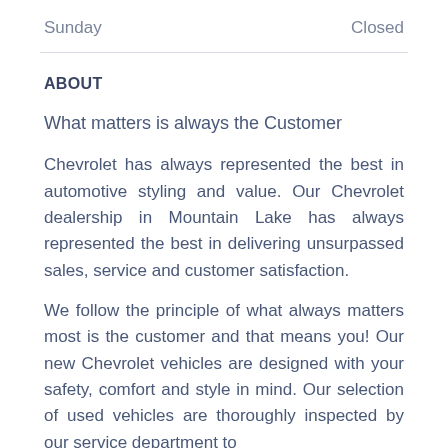| Sunday | Closed |
ABOUT
What matters is always the Customer
Chevrolet has always represented the best in automotive styling and value. Our Chevrolet dealership in Mountain Lake has always represented the best in delivering unsurpassed sales, service and customer satisfaction.
We follow the principle of what always matters most is the customer and that means you! Our new Chevrolet vehicles are designed with your safety, comfort and style in mind. Our selection of used vehicles are thoroughly inspected by our service department to